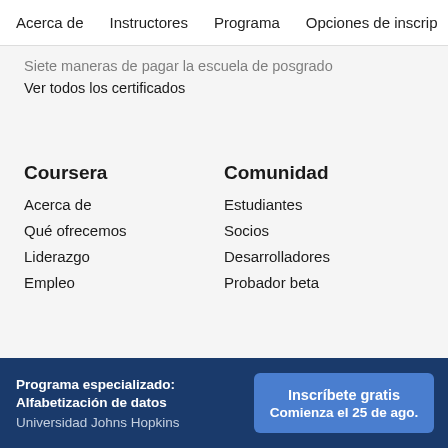Acerca de    Instructores    Programa    Opciones de inscrip
Siete maneras de pagar la escuela de posgrado
Ver todos los certificados
Coursera
Comunidad
Acerca de
Estudiantes
Qué ofrecemos
Socios
Liderazgo
Desarrolladores
Empleo
Probador beta
Programa especializado: Alfabetización de datos
Universidad Johns Hopkins
Inscríbete gratis
Comienza el 25 de ago.